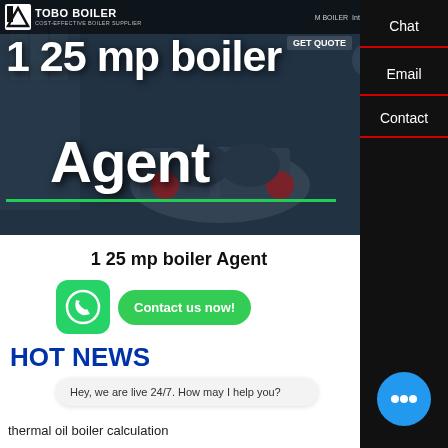[Figure (screenshot): TOBO Boiler company website hero banner with industrial boiler equipment photo. Dark overlay with white large text '1 25 mp boiler Agent'. Navigation bar at top with TOBO BOILER logo and 'COST-EFFECTIVE BOILER SUPPLIER' tagline. Green underline accent. GET QUOTE button visible.]
TOBO BOILER - COST-EFFECTIVE BOILER SUPPLIER | M BOILER Integrated Steam Boiler | GET QUOTE
1 25 mp boiler Agent
[Figure (illustration): WhatsApp icon (green circle with phone) and green 'Contact us now!' button side by side]
HOT NEWS
Hey, we are live 24/7. How may I help you?
thermal oil boiler calculation
Chat
Email
Contact